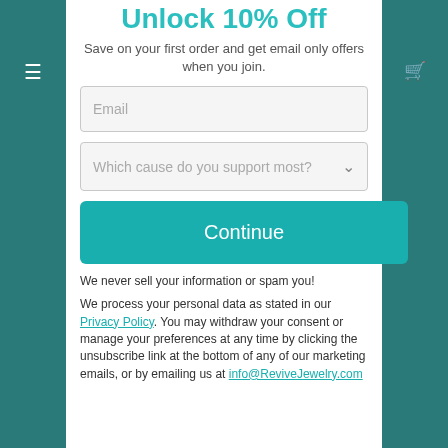Unlock 10% Off
Save on your first order and get email only offers when you join.
Email
Which cause do you support most?
Continue
We never sell your information or spam you!
We process your personal data as stated in our Privacy Policy. You may withdraw your consent or manage your preferences at any time by clicking the unsubscribe link at the bottom of any of our marketing emails, or by emailing us at info@ReviveJewelry.com